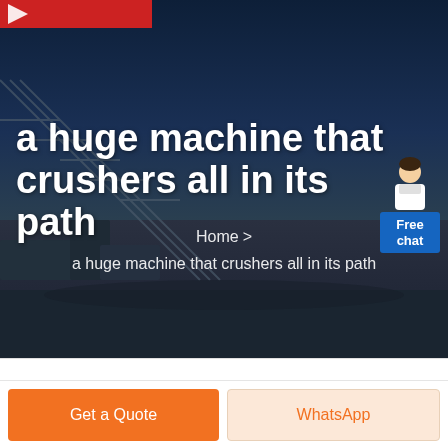[Figure (photo): Industrial mining or quarrying site with conveyor belts and machinery visible against a dark blue night sky, serving as hero background image.]
a huge machine that crushers all in its path
Home > a huge machine that crushers all in its path
[Figure (illustration): Customer service chat widget showing a person avatar and a blue Free chat button.]
Get a Quote
WhatsApp